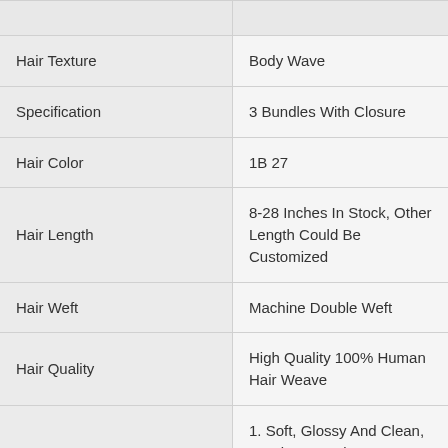|  |  |
| --- | --- |
| Hair Texture | Body Wave |
| Specification | 3 Bundles With Closure |
| Hair Color | 1B 27 |
| Hair Length | 8-28 Inches In Stock, Other Length Could Be Customized |
| Hair Weft | Machine Double Weft |
| Hair Quality | High Quality 100% Human Hair Weave |
| Features | 1. Soft, Glossy And Clean, No Lice Or Knit.
2. Curl Or Wave Hold Well After Washing
3. No Synthetic Hair , Not Mix Animal Hair. |